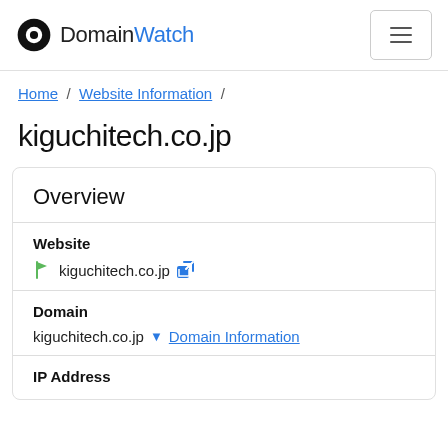DomainWatch
Home / Website Information /
kiguchitech.co.jp
Overview
| Field | Value |
| --- | --- |
| Website | kiguchitech.co.jp [external link] |
| Domain | kiguchitech.co.jp ▾ Domain Information |
| IP Address |  |